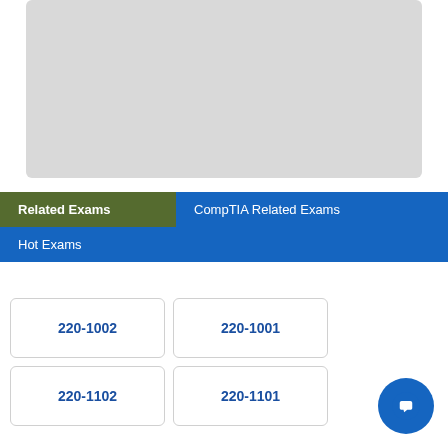[Figure (other): Gray placeholder box at top of page]
Related Exams
CompTIA Related Exams
Hot Exams
220-1002
220-1001
220-1102
220-1101
[Figure (other): Blue circular chat bubble icon in bottom right corner]